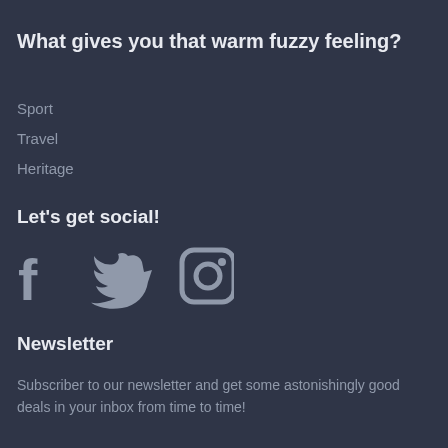What gives you that warm fuzzy feeling?
Sport
Travel
Heritage
Let's get social!
[Figure (illustration): Social media icons: Facebook, Twitter, Instagram]
Newsletter
Subscriber to our newsletter and get some astonishingly good deals in your inbox from time to time!